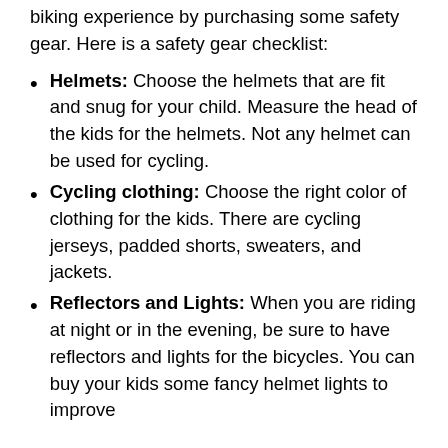biking experience by purchasing some safety gear. Here is a safety gear checklist:
Helmets: Choose the helmets that are fit and snug for your child. Measure the head of the kids for the helmets. Not any helmet can be used for cycling.
Cycling clothing: Choose the right color of clothing for the kids. There are cycling jerseys, padded shorts, sweaters, and jackets.
Reflectors and Lights: When you are riding at night or in the evening, be sure to have reflectors and lights for the bicycles. You can buy your kids some fancy helmet lights to improve